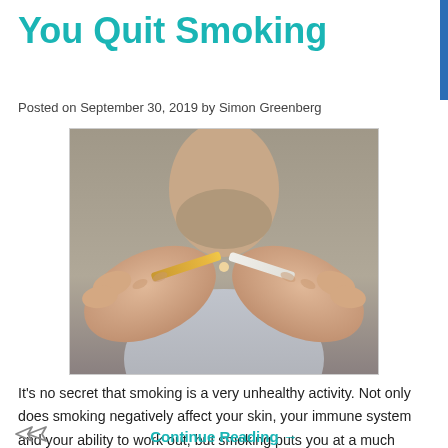You Quit Smoking
Posted on September 30, 2019 by Simon Greenberg
[Figure (photo): Person's hands breaking a cigarette in half, with a grey shirt visible in the background]
It's no secret that smoking is a very unhealthy activity. Not only does smoking negatively affect your skin, your immune system and your ability to work out, but smoking puts you at a much greater risk of experiencing heart disease,...
Continue Reading →